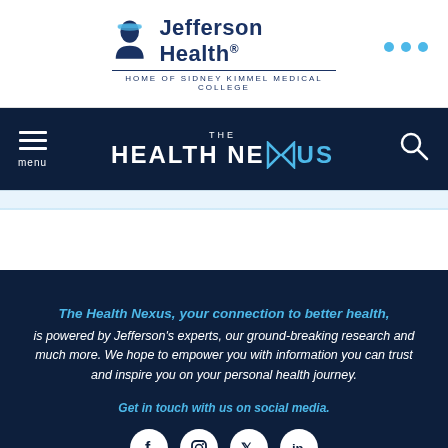[Figure (logo): Jefferson Health logo with person icon, text 'Jefferson Health.' and tagline 'HOME OF SIDNEY KIMMEL MEDICAL COLLEGE']
[Figure (screenshot): Navigation bar with hamburger menu, 'THE HEALTH NEXUS' title in white and cyan, and search icon on dark navy background]
The Health Nexus, your connection to better health, is powered by Jefferson's experts, our ground-breaking research and much more. We hope to empower you with information you can trust and inspire you on your personal health journey.
Get in touch with us on social media.
[Figure (illustration): Social media icons: Facebook, Instagram, Twitter/X, LinkedIn — white circles on dark navy background]